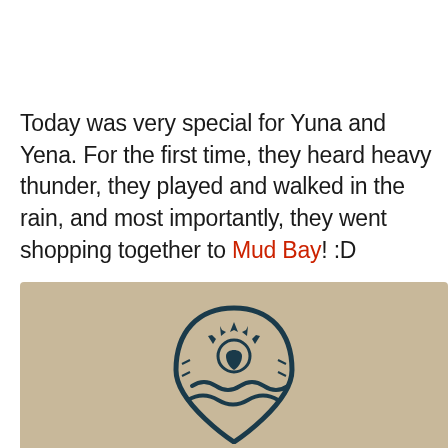Today was very special for Yuna and Yena. For the first time, they heard heavy thunder, they played and walked in the rain, and most importantly, they went shopping together to Mud Bay! :D
[Figure (photo): A Mud Bay shopping bag with the Mud Bay logo (an arch-shaped emblem featuring a sun and wave design with an animal) visible on the tan/beige paper bag surface.]